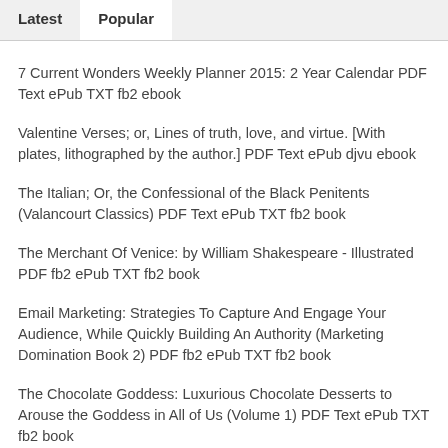Latest   Popular
7 Current Wonders Weekly Planner 2015: 2 Year Calendar PDF Text ePub TXT fb2 ebook
Valentine Verses; or, Lines of truth, love, and virtue. [With plates, lithographed by the author.] PDF Text ePub djvu ebook
The Italian; Or, the Confessional of the Black Penitents (Valancourt Classics) PDF Text ePub TXT fb2 book
The Merchant Of Venice: by William Shakespeare - Illustrated PDF fb2 ePub TXT fb2 book
Email Marketing: Strategies To Capture And Engage Your Audience, While Quickly Building An Authority (Marketing Domination Book 2) PDF fb2 ePub TXT fb2 book
The Chocolate Goddess: Luxurious Chocolate Desserts to Arouse the Goddess in All of Us (Volume 1) PDF Text ePub TXT fb2 book